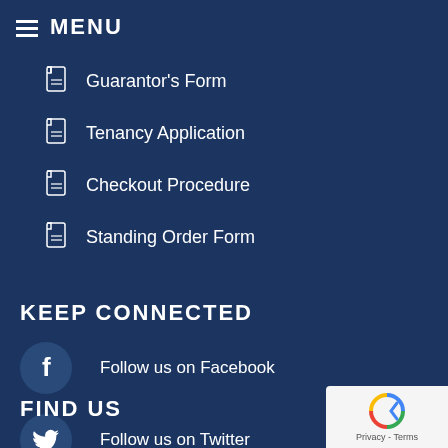MENU
Guarantor's Form
Tenancy Application
Checkout Procedure
Standing Order Form
KEEP CONNECTED
Follow us on Facebook
Follow us on Twitter
FIND US
[Figure (logo): Google reCAPTCHA badge with Privacy and Terms links]